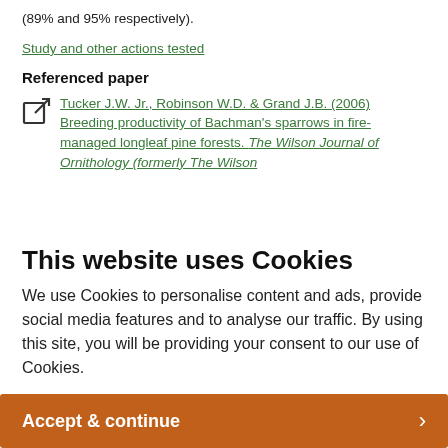(89% and 95% respectively).
Study and other actions tested
Referenced paper
Tucker J.W. Jr., Robinson W.D. & Grand J.B. (2006) Breeding productivity of Bachman's sparrows in fire-managed longleaf pine forests. The Wilson Journal of Ornithology (formerly The Wilson
This website uses Cookies
We use Cookies to personalise content and ads, provide social media features and to analyse our traffic. By using this site, you will be providing your consent to our use of Cookies.
Accept & continue